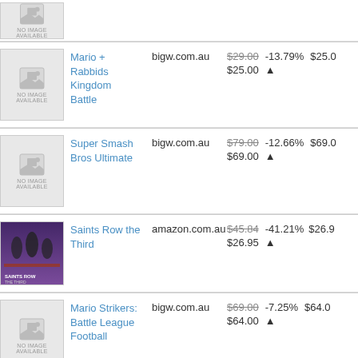| Image | Title | Store | Original Price | Discount | Current Price |
| --- | --- | --- | --- | --- | --- |
| [no image] |  |  |  |  |  |
| [no image] | Mario + Rabbids Kingdom Battle | bigw.com.au | $29.00 | -13.79% | $25.00 |
| [no image] | Super Smash Bros Ultimate | bigw.com.au | $79.00 | -12.66% | $69.00 |
| [Saints Row image] | Saints Row the Third | amazon.com.au | $45.84 | -41.21% | $26.95 |
| [no image] | Mario Strikers: Battle League Football | bigw.com.au | $69.00 | -7.25% | $64.00 |
| [Into the Breach image] | Into The Breach | amazon.com.au | $69.00 | -14.49% | $59.00 |